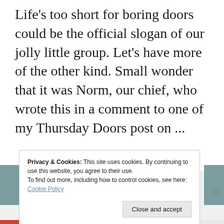Life's too short for boring doors could be the official slogan of our jolly little group. Let's have more of the other kind. Small wonder that it was Norm, our chief, who wrote this in a comment to one of my Thursday Doors post on ...
Continue reading
Privacy & Cookies: This site uses cookies. By continuing to use this website, you agree to their use.
To find out more, including how to control cookies, see here:
Cookie Policy
Close and accept